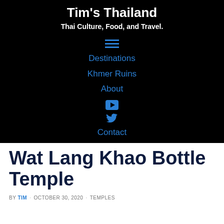Tim's Thailand
Thai Culture, Food, and Travel.
Destinations
Khmer Ruins
About
Contact
Wat Lang Khao Bottle Temple
BY TIM · OCTOBER 30, 2020 · TEMPLES